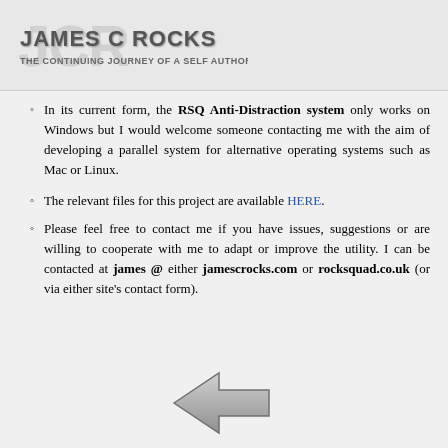JAMES C ROCKS - THE CONTINUING JOURNEY OF A SELF AUTHOR
In its current form, the RSQ Anti-Distraction system only works on Windows but I would welcome someone contacting me with the aim of developing a parallel system for alternative operating systems such as Mac or Linux.
The relevant files for this project are available HERE.
Please feel free to contact me if you have issues, suggestions or are willing to cooperate with me to adapt or improve the utility. I can be contacted at james @ either jamescrocks.com or rocksquad.co.uk (or via either site's contact form).
[Figure (illustration): A left-pointing grey arrow navigation button]